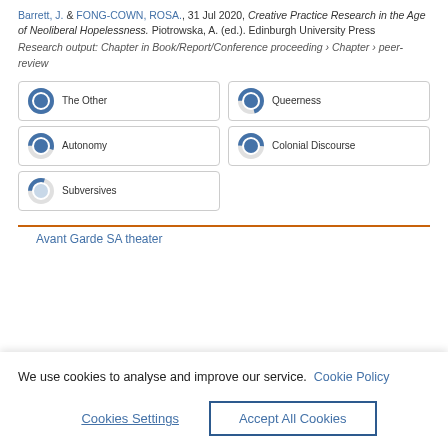Barrett, J. & FONG-COWN, ROSA., 31 Jul 2020, Creative Practice Research in the Age of Neoliberal Hopelessness. Piotrowska, A. (ed.). Edinburgh University Press
Research output: Chapter in Book/Report/Conference proceeding › Chapter › peer-review
[Figure (infographic): Five keyword badges arranged in a 2-column grid: The Other (100% filled donut), Queerness (70% filled donut), Autonomy (55% filled donut), Colonial Discourse (50% filled donut), Subversives (30% filled donut)]
Avant Garde SA theater
We use cookies to analyse and improve our service. Cookie Policy
Cookies Settings
Accept All Cookies